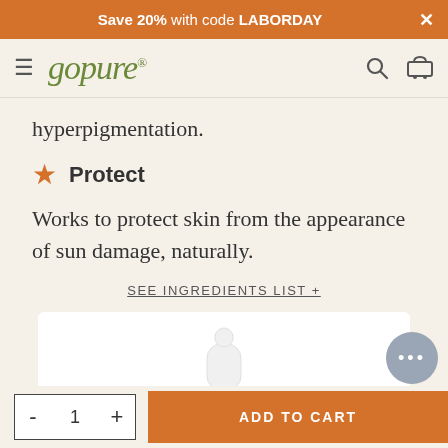Save 20% with code LABORDAY
[Figure (logo): goPure brand logo with hamburger menu, search icon, and shopping cart icon]
hyperpigmentation.
Protect
Works to protect skin from the appearance of sun damage, naturally.
SEE INGREDIENTS LIST +
[Figure (photo): White skincare bottle/tube product on white background]
- 1 + ADD TO CART